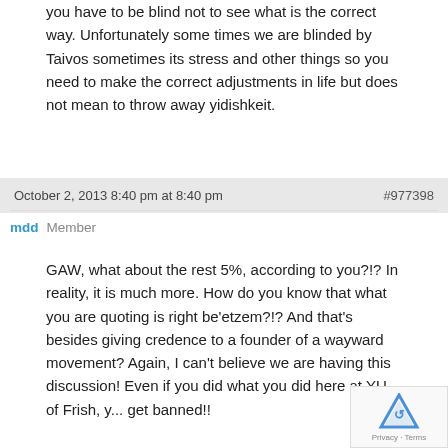you have to be blind not to see what is the correct way. Unfortunately some times we are blinded by Taivos sometimes its stress and other things so you need to make the correct adjustments in life but does not mean to throw away yidishkeit.
October 2, 2013 8:40 pm at 8:40 pm
#977398
mdd  Member
GAW, what about the rest 5%, according to you?!? In reality, it is much more. How do you know that what you are quoting is right be'etzem?!? And that's besides giving credence to a founder of a wayward movement? Again, I can't believe we are having this discussion! Even if you did what you did here at YU of Frish, y... get banned!!